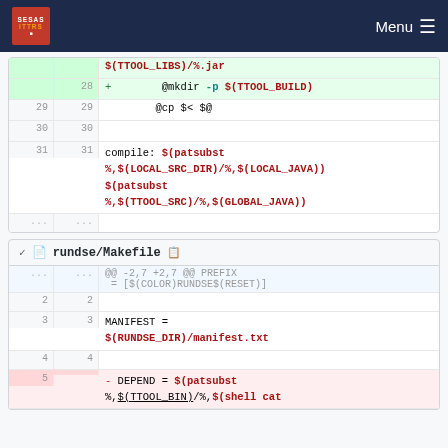Menu
[Figure (screenshot): Code diff view showing Makefile changes. Lines 28-31 shown with line numbers. Line 28 is added (green): @mkdir -p $(TTOOL_BUILD). Lines 29-30 unchanged: @cp $< $@. Line 31 unchanged: compile: $(patsubst %,$(LOCAL_SRC_DIR)/%,$(LOCAL_JAVA)) $(patsubst %,$(TTOOL_SRC)/%,$(GLOBAL_JAVA))]
rundse/Makefile
[Figure (screenshot): Code diff view for rundse/Makefile. Header: @@ -2,7 +2,7 @@ PREFIX = [$(COLOR)RUNDSE$(RESET)]. Lines 2-4 unchanged, line 5 deleted (red): DEPEND = $(patsubst %,$(TTOOL_BIN)/%,$(shell cat]